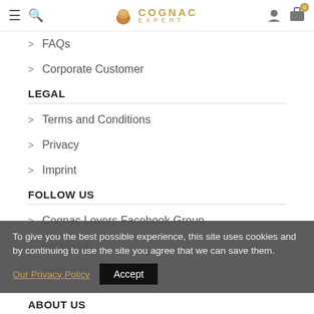Cognac Expert
FAQs
Corporate Customer
LEGAL
Terms and Conditions
Privacy
Imprint
FOLLOW US
Cognac Lovers Facebook Group
Facebook
Instagram
To give you the best possible experience, this site uses cookies and by continuing to use the site you agree that we can save them. Our Privacy Policy Accept
ABOUT US